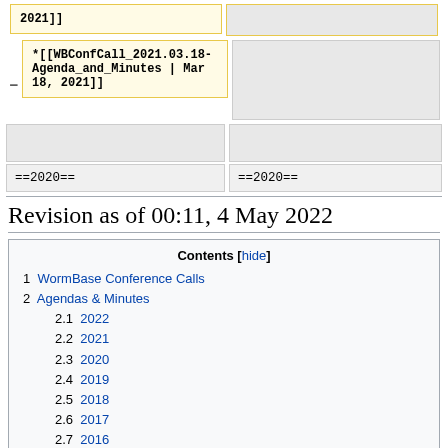*[[WBConfCall_2021.03.18-Agenda_and_Minutes | Mar 18, 2021]]
==2020==
==2020==
Revision as of 00:11, 4 May 2022
Contents [hide]
1 WormBase Conference Calls
2 Agendas & Minutes
2.1 2022
2.2 2021
2.3 2020
2.4 2019
2.5 2018
2.6 2017
2.7 2016
2.8 2015
2.9 2014